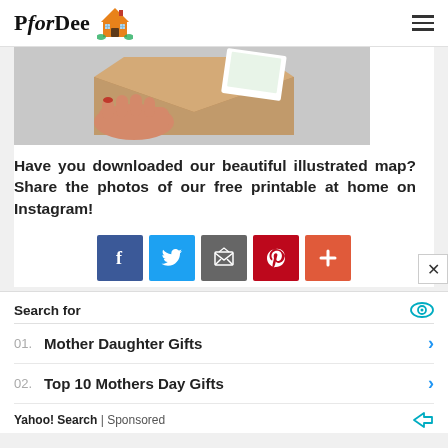PforDee [logo with house illustration]
[Figure (photo): Hand holding a brown kraft envelope with a colorful illustrated card peeking out, on a light grey background.]
Have you downloaded our beautiful illustrated map? Share the photos of our free printable at home on Instagram!
[Figure (infographic): Social share buttons: Facebook (blue), Twitter (light blue), Email (grey), Pinterest (dark red), Plus/More (orange-red)]
Search for
01. Mother Daughter Gifts
02. Top 10 Mothers Day Gifts
Yahoo! Search | Sponsored